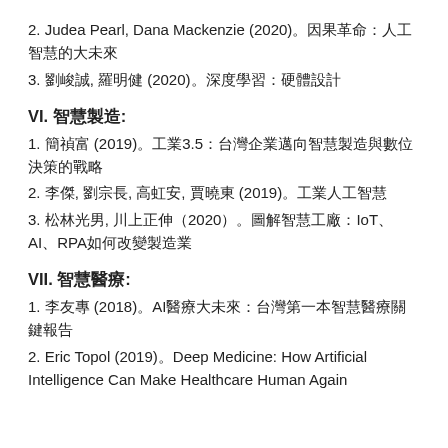2. Judea Pearl, Dana Mackenzie (2020)。因果革命：人工智慧的大未來
3. 劉峻誠, 羅明健 (2020)。深度學習：硬體設計
VI. 智慧製造:
1. 簡禎富 (2019)。工業3.5：台灣企業邁向智慧製造與數位決策的戰略
2. 李傑, 劉宗長, 高虹安, 賈曉東 (2019)。工業人工智慧
3. 松林光男, 川上正伸（2020）。圖解智慧工廠：IoT、AI、RPA如何改變製造業
VII. 智慧醫療:
1. 李友專 (2018)。AI醫療大未來：台灣第一本智慧醫療關鍵報告
2. Eric Topol (2019)。Deep Medicine: How Artificial Intelligence Can Make Healthcare Human Again